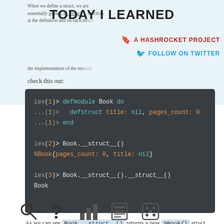TODAY I LEARNED
A HASHROCKET PROJECT
FOLLOW ON TWITTER
When we define a struct, we are essentially getting a __struct__ function at the definition and on each struct. It contains the implementation of the module, check this out:
[Figure (screenshot): Dark terminal code block showing Elixir iex session: defmodule Book with defstruct, Book.__struct__() returning %Book{pages_count: 0, title: nil}, and Book.__struct__().__struct__() returning Book]
As we can see Book.__struct__() returns a new %Book{} struct with its defaults, meanwhile %Book{}.__struct__() returns the Book module.
[Figure (infographic): Bottom row of navigation icons: magnifying glass, question mark, bar chart, newspaper/list, dice]